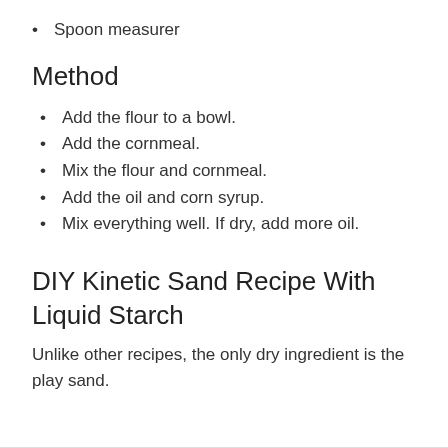Spoon measurer
Method
Add the flour to a bowl.
Add the cornmeal.
Mix the flour and cornmeal.
Add the oil and corn syrup.
Mix everything well. If dry, add more oil.
DIY Kinetic Sand Recipe With Liquid Starch
Unlike other recipes, the only dry ingredient is the play sand.